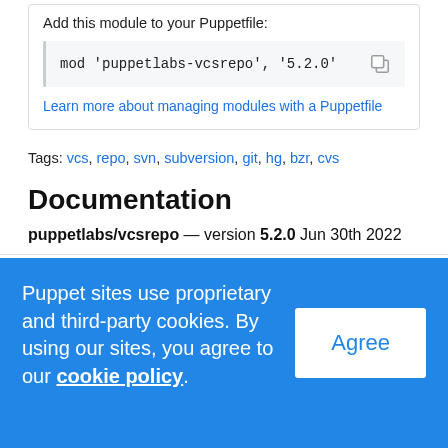Add this module to your Puppetfile:
mod 'puppetlabs-vcsrepo', '5.2.0'
Learn more about managing modules with a Puppetfile
Tags: vcs, repo, svn, subversion, git, hg, bzr, cvs
Documentation
puppetlabs/vcsrepo — version 5.2.0 Jun 30th 2022
README  Reference  Changelog  License  Quality Che  >
Puppet sites use proprietary and third-party cookies. By using our sites, you agree to our cookie policy.